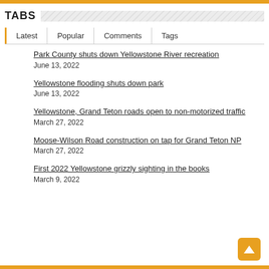TABS
Latest | Popular | Comments | Tags
Park County shuts down Yellowstone River recreation
June 13, 2022
Yellowstone flooding shuts down park
June 13, 2022
Yellowstone, Grand Teton roads open to non-motorized traffic
March 27, 2022
Moose-Wilson Road construction on tap for Grand Teton NP
March 27, 2022
First 2022 Yellowstone grizzly sighting in the books
March 9, 2022